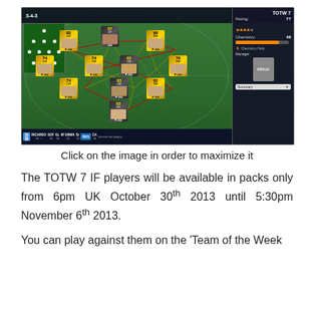[Figure (screenshot): FIFA 14 Ultimate Team TOTW 7 squad view showing a 3-4-3 formation on a football pitch with player cards, rating 77, chemistry 48, and a FIFA 14 manager card. Substitutes shown along the bottom bar.]
Click on the image in order to maximize it
The TOTW 7 IF players will be available in packs only from 6pm UK October 30th 2013 until 5:30pm November 6th 2013.
You can play against them on the 'Team of the Week